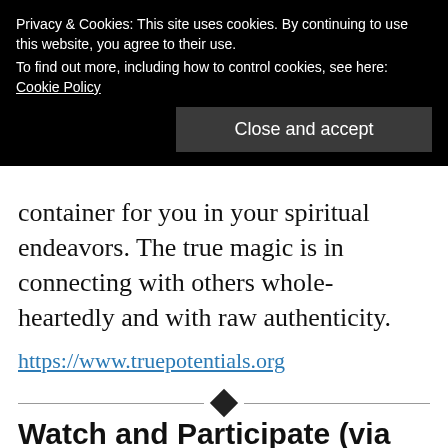Privacy & Cookies: This site uses cookies. By continuing to use this website, you agree to their use.
To find out more, including how to control cookies, see here: Cookie Policy
Close and accept
container for you in your spiritual endeavors. The true magic is in connecting with others whole-heartedly and with raw authenticity.
https://www.truepotentials.org
[Figure (other): Decorative horizontal divider with a diamond shape in the center]
Watch and Participate (via Comments) during the Live Streamed